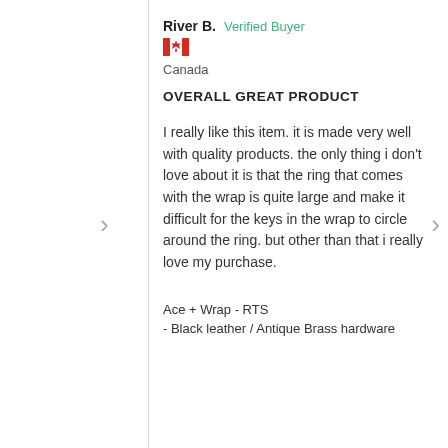River B.   Verified Buyer
[Figure (illustration): Canadian flag emoji/icon — red and white maple leaf flag]
Canada
OVERALL GREAT PRODUCT
I really like this item. it is made very well with quality products. the only thing i don't love about it is that the ring that comes with the wrap is quite large and make it difficult for the keys in the wrap to circle around the ring. but other than that i really love my purchase.
Ace + Wrap - RTS
- Black leather / Antique Brass hardware